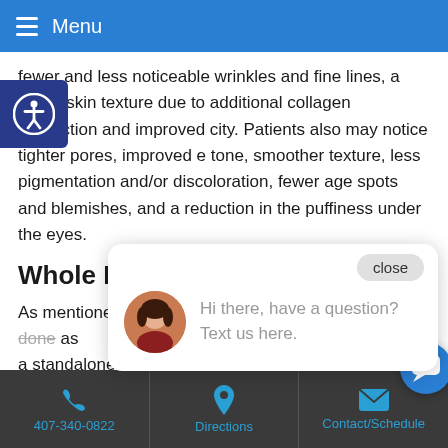Menu
fewer and less noticeable wrinkles and fine lines, a firmer skin texture due to additional collagen production and improved city. Patients also may notice tighter pores, improved e tone, smoother texture, less pigmentation and/or discoloration, fewer age spots and blemishes, and a reduction in the puffiness under the eyes.
Whole Body Benefits
As mentioned previously, facial acupuncture is rarely done as a standalone treat body benefits as w different body imb additional benefits improvements in:
[Figure (screenshot): Chat widget popup with avatar photo of a woman and text: Hi there, have a question? Text us here. With a close button.]
407-340-0822   Directions   Contact/Schedule